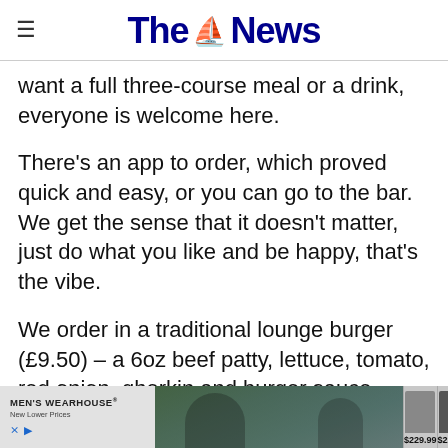The News
want a full three-course meal or a drink, everyone is welcome here.
There's an app to order, which proved quick and easy, or you can go to the bar. We get the sense that it doesn't matter, just do what you like and be happy, that's the vibe.
We order in a traditional lounge burger (£9.50) – a 6oz beef patty, lettuce, tomato, red onion, gherkin and burger sauce burger. But there are plent
[Figure (advertisement): Men's Wearhouse advertisement banner with logo, photo of couple, and suit images priced at $229.99]